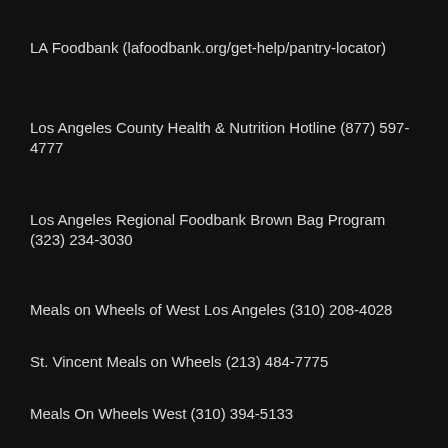LA Foodbank (lafoodbank.org/get-help/pantry-locator)
Los Angeles County Health & Nutrition Hotline (877) 597-4777
Los Angeles Regional Foodbank Brown Bag Program (323) 234-3030
Meals on Wheels of West Los Angeles (310) 208-4028
St. Vincent Meals on Wheels (213) 484-7775
Meals On Wheels West (310) 394-5133
Brain, Behavior, and Aging Research Center (semel.ucla.edu/alzheimers) (310) 478-3711, ext. 54437